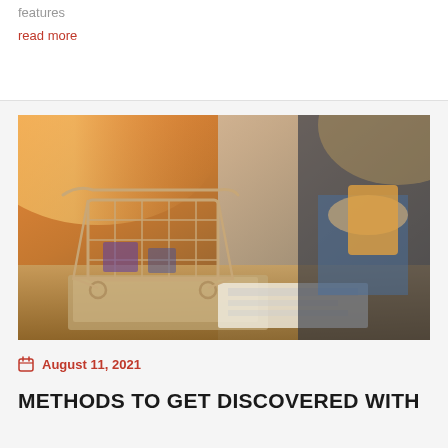features
read more
[Figure (photo): A miniature shopping cart on a desk in front of a laptop, with a person holding a credit card/phone in the background, warm orange lighting]
August 11, 2021
METHODS TO GET DISCOVERED WITH